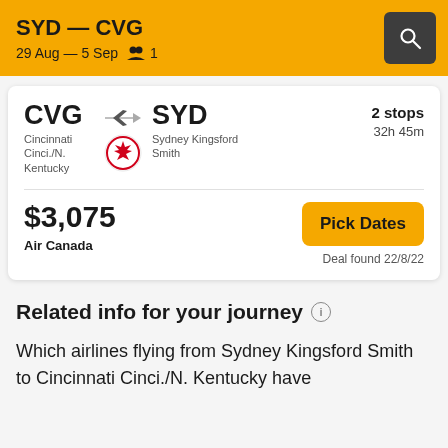SYD — CVG
29 Aug — 5 Sep  1
CVG → SYD
Cincinnati Cinci./N. Kentucky | Sydney Kingsford Smith
2 stops
32h 45m
$3,075
Air Canada
Pick Dates
Deal found 22/8/22
Related info for your journey
Which airlines flying from Sydney Kingsford Smith to Cincinnati Cinci./N. Kentucky have